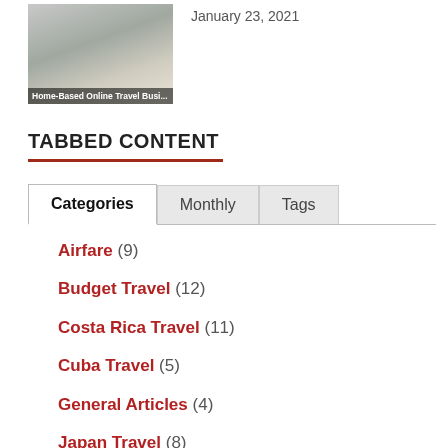[Figure (photo): Thumbnail image of a laptop on a desk with overlay text: Home-Based Online Travel Business]
January 23, 2021
TABBED CONTENT
Categories | Monthly | Tags (tab navigation)
Airfare (9)
Budget Travel (12)
Costa Rica Travel (11)
Cuba Travel (5)
General Articles (4)
Japan Travel (8)
State Department Travel (9)